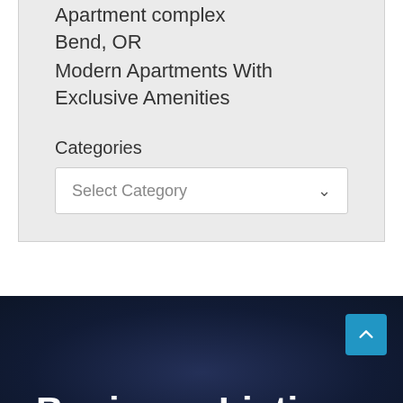Apartment complex
Bend, OR
Modern Apartments With Exclusive Amenities
Categories
Select Category
Business Listings